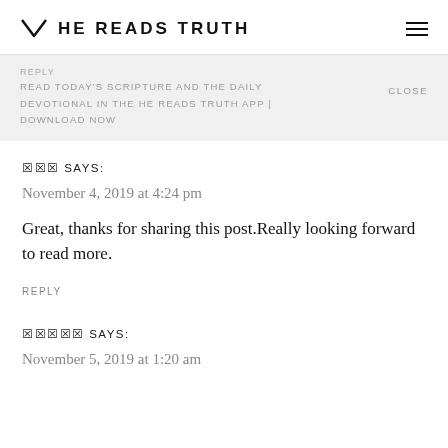HE READS TRUTH
REPLY READ TODAY'S SCRIPTURE AND THE DAILY DEVOTIONAL IN THE HE READS TRUTH APP | DOWNLOAD NOW  CLOSE
??? SAYS:
November 4, 2019 at 4:24 pm
Great, thanks for sharing this post.Really looking forward to read more.
REPLY
????? SAYS:
November 5, 2019 at 1:20 am